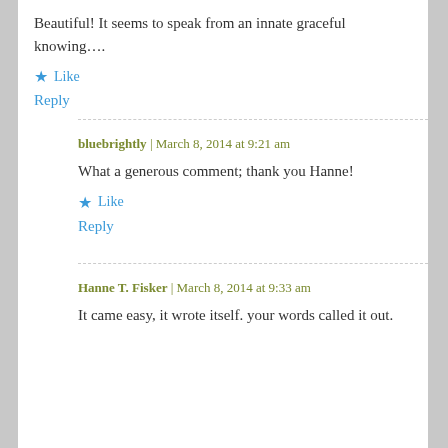Beautiful! It seems to speak from an innate graceful knowing….
★ Like
Reply
bluebrightly | March 8, 2014 at 9:21 am
What a generous comment; thank you Hanne!
★ Like
Reply
Hanne T. Fisker | March 8, 2014 at 9:33 am
It came easy, it wrote itself. your words called it out.